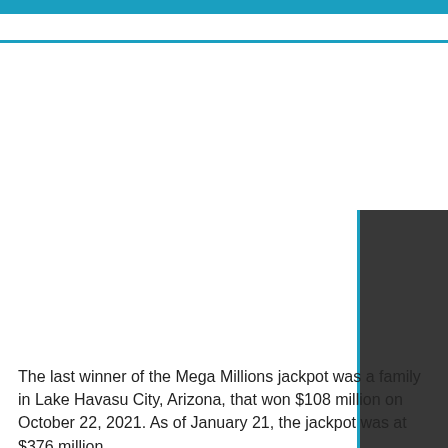[Figure (other): Dark rectangular panel on the right side of the page with a cyan/blue left and bottom border]
The last winner of the Mega Millions jackpot was a family in Lake Havasu City, Arizona, that won $108 million on October 22, 2021. As of January 21, the jackpot was at $376 million